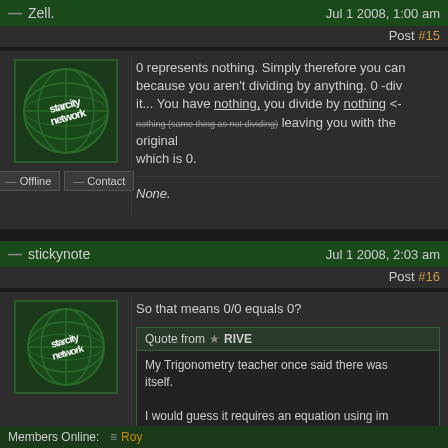— Zell.    Jul 1 2008, 1:00 am    Post #15
0 represents nothing. Simply therefore you can't because you aren't dividing by anything. 0 -div it... You have nothing, you divide by nothing <-nothing (same thing as not dividing) leaving you with the original which is 0.
None.
— stickynote    Jul 1 2008, 2:03 am    Post #16
So that means 0/0 equals 0?
Quote from ★ RIVE
My Trigonometry teacher once said there was itself.
I would guess it requires an equation using im
Members Online:  ≡ Roy